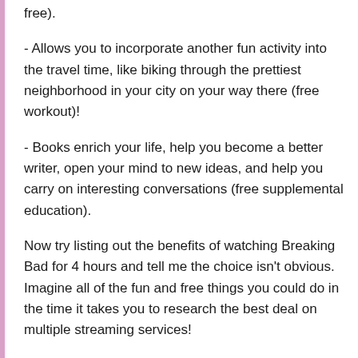free).
- Allows you to incorporate another fun activity into the travel time, like biking through the prettiest neighborhood in your city on your way there (free workout)!
- Books enrich your life, help you become a better writer, open your mind to new ideas, and help you carry on interesting conversations (free supplemental education).
Now try listing out the benefits of watching Breaking Bad for 4 hours and tell me the choice isn't obvious. Imagine all of the fun and free things you could do in the time it takes you to research the best deal on multiple streaming services!
What are some of your frugal lifestyle swaps that